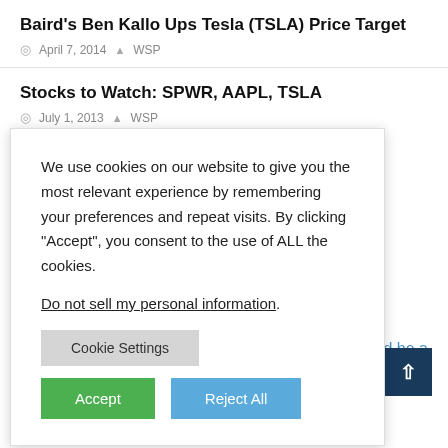Baird’s Ben Kallo Ups Tesla (TSLA) Price Target
April 7, 2014   WSP
Stocks to Watch: SPWR, AAPL, TSLA
July 1, 2013   WSP
We use cookies on our website to give you the most relevant experience by remembering your preferences and repeat visits. By clicking “Accept”, you consent to the use of ALL the cookies.

Do not sell my personal information.
Cookie Settings
Accept
Reject All
would be a
Lutz once was asked what GM had to compete with the then new Hyundai’s cheap cars, he said “a used Buick”.